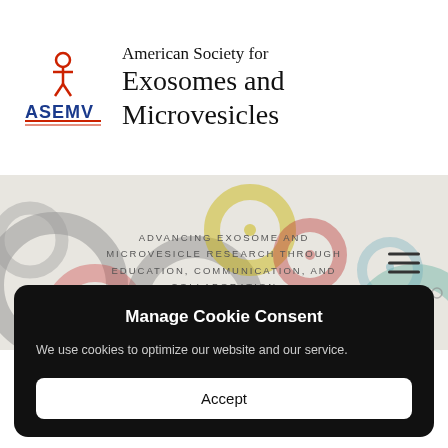[Figure (logo): ASEMV logo with stylized person figure in red/blue above text 'ASEMV' in blue with red lines]
American Society for Exosomes and Microvesicles
[Figure (infographic): Website banner with colorful overlapping circle/ring shapes in gray, red, yellow, green colors and tagline text: ADVANCING EXOSOME AND MICROVESICLE RESEARCH THROUGH EDUCATION, COMMUNICATION, AND COLLABORATION]
[Figure (infographic): Accessibility icon button (person in circle, dark blue background)]
ASEMV2019
Manage Cookie Consent
We use cookies to optimize our website and our service.
Accept